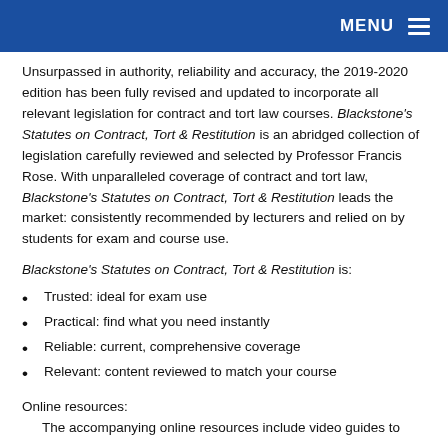MENU
Unsurpassed in authority, reliability and accuracy, the 2019-2020 edition has been fully revised and updated to incorporate all relevant legislation for contract and tort law courses. Blackstone's Statutes on Contract, Tort & Restitution is an abridged collection of legislation carefully reviewed and selected by Professor Francis Rose. With unparalleled coverage of contract and tort law, Blackstone's Statutes on Contract, Tort & Restitution leads the market: consistently recommended by lecturers and relied on by students for exam and course use.
Blackstone's Statutes on Contract, Tort & Restitution is:
Trusted: ideal for exam use
Practical: find what you need instantly
Reliable: current, comprehensive coverage
Relevant: content reviewed to match your course
Online resources:
The accompanying online resources include video guides to